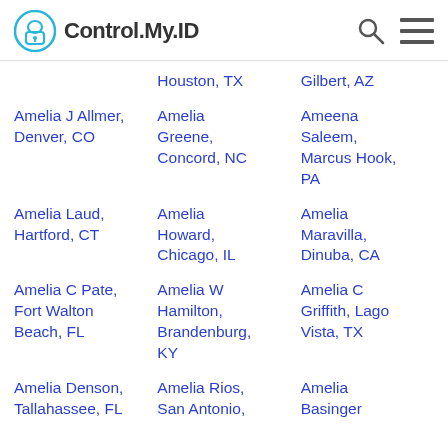Control.My.ID
Houston, TX
Gilbert, AZ
Amelia J Allmer, Denver, CO
Amelia Greene, Concord, NC
Ameena Saleem, Marcus Hook, PA
Amelia Laud, Hartford, CT
Amelia Howard, Chicago, IL
Amelia Maravilla, Dinuba, CA
Amelia C Pate, Fort Walton Beach, FL
Amelia W Hamilton, Brandenburg, KY
Amelia C Griffith, Lago Vista, TX
Amelia Denson, Tallahassee, FL
Amelia Rios, San Antonio,
Amelia Basinger,